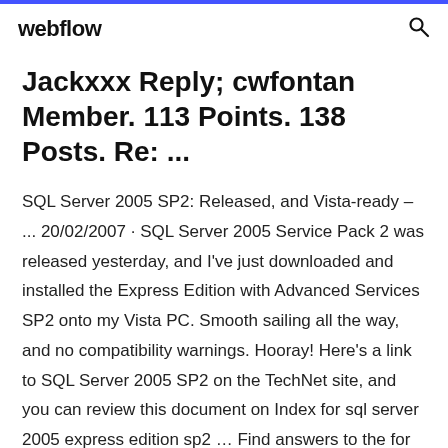webflow
Jackxxx Reply; cwfontan Member. 113 Points. 138 Posts. Re: ...
SQL Server 2005 SP2: Released, and Vista-ready – ... 20/02/2007 · SQL Server 2005 Service Pack 2 was released yesterday, and I've just downloaded and installed the Express Edition with Advanced Services SP2 onto my Vista PC. Smooth sailing all the way, and no compatibility warnings. Hooray! Here's a link to SQL Server 2005 SP2 on the TechNet site, and you can review this document on Index for sql server 2005 express edition sp2 … Find answers to the for sql server 2005 express edition sp2 ...